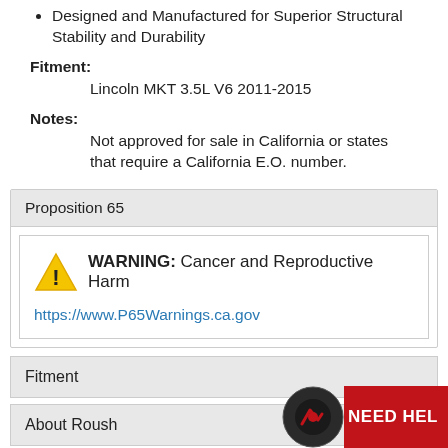Designed and Manufactured for Superior Structural Stability and Durability
Fitment:
Lincoln MKT 3.5L V6 2011-2015
Notes:
Not approved for sale in California or states that require a California E.O. number.
Proposition 65
WARNING: Cancer and Reproductive Harm
https://www.P65Warnings.ca.gov
Fitment
About Roush
Warranty